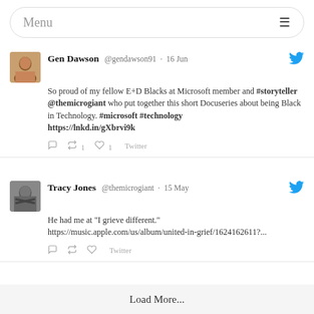Menu
Gen Dawson @gendawson91 · 16 Jun
So proud of my fellow E+D Blacks at Microsoft member and #storyteller @themicrogiant who put together this short Docuseries about being Black in Technology. #microsoft #technology https://lnkd.in/gXbrvi9k
↩ 1  ♡ 1  Twitter
Tracy Jones @themicrogiant · 15 May
He had me at "I grieve different."
https://music.apple.com/us/album/united-in-grief/1624162611?...
Twitter
Load More...